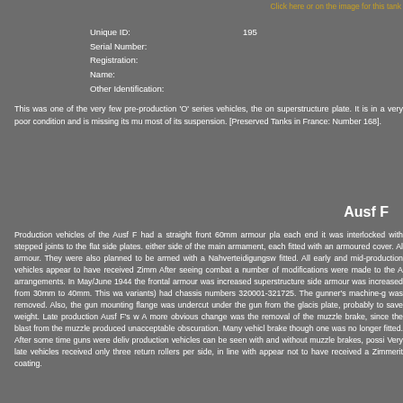Click here or on the image for this tank
Unique ID:	195
Serial Number:
Registration:
Name:
Other Identification:
This was one of the very few pre-production 'O' series vehicles, the on superstructure plate. It is in a very poor condition and is missing its mu most of its suspension. [Preserved Tanks in France: Number 168].
Ausf F
Production vehicles of the Ausf F had a straight front 60mm armour pla each end it was interlocked with stepped joints to the flat side plates. either side of the main armament, each fitted with an armoured cover. All armour. They were also planned to be armed with a Nahverteidigungsw fitted. All early and mid-production vehicles appear to have received Zimm After seeing combat a number of modifications were made to the A arrangements. In May/June 1944 the frontal armour was increased superstructure side armour was increased from 30mm to 40mm. This wa variants) had chassis numbers 320001-321725. The gunner's machine-g was removed. Also, the gun mounting flange was undercut under the gu from the glacis plate, probably to save weight. Late production Ausf F's w A more obvious change was the removal of the muzzle brake, since the blast from the muzzle produced unacceptable obscuration. Many vehicl brake though one was no longer fitted. After some time guns were deliv production vehicles can be seen with and without muzzle brakes, possi Very late vehicles received only three return rollers per side, in line with appear not to have received a Zimmerit coating.